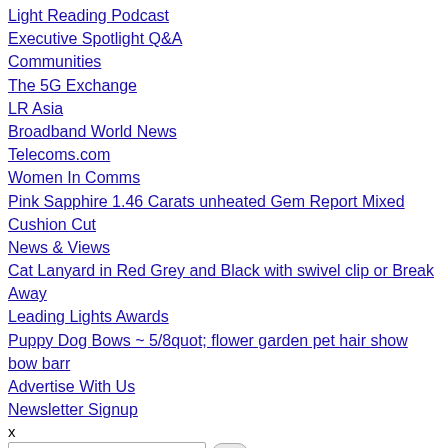Light Reading Podcast
Executive Spotlight Q&A
Communities
The 5G Exchange
LR Asia
Broadband World News
Telecoms.com
Women In Comms
Pink Sapphire 1.46 Carats unheated Gem Report Mixed Cushion Cut
News & Views
Cat Lanyard in Red Grey and Black with swivel clip or Break Away
Leading Lights Awards
Puppy Dog Bows ~ 5/8quot; flower garden pet hair show bow barr
Advertise With Us
Newsletter Signup
x
Search..
Women Diamond Ring 2.10 Carat Round Cut 18 Karat White Gold Sett
5□ Gold Cute sets Shape personalized Lock Moon lock inchColor: snap Handbag Purse Bag engraved hardwareSize: gift 2 gold Half